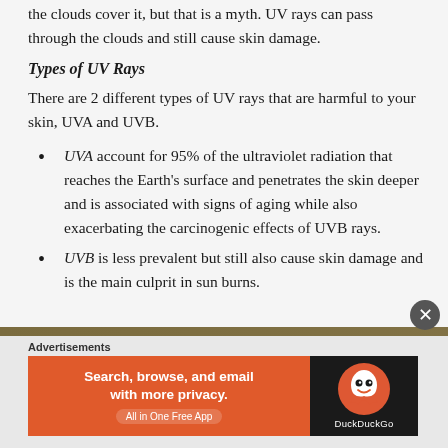the clouds cover it, but that is a myth. UV rays can pass through the clouds and still cause skin damage.
Types of UV Rays
There are 2 different types of UV rays that are harmful to your skin, UVA and UVB.
UVA account for 95% of the ultraviolet radiation that reaches the Earth's surface and penetrates the skin deeper and is associated with signs of aging while also exacerbating the carcinogenic effects of UVB rays.
UVB is less prevalent but still also cause skin damage and is the main culprit in sun burns.
Advertisements
[Figure (screenshot): DuckDuckGo advertisement banner: orange left panel with text 'Search, browse, and email with more privacy. All in One Free App' and dark right panel with DuckDuckGo logo and name.]